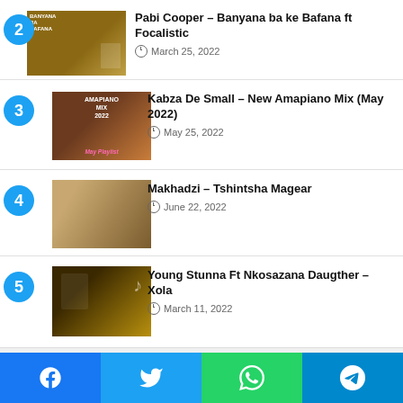2 - Pabi Cooper – Banyana ba ke Bafana ft Focalistic, March 25, 2022
3 - Kabza De Small – New Amapiano Mix (May 2022), May 25, 2022
4 - Makhadzi – Tshintsha Magear, June 22, 2022
5 - Young Stunna Ft Nkosazana Daugther – Xola, March 11, 2022
[Figure (other): Social media share buttons: Facebook, Twitter, WhatsApp, Telegram]